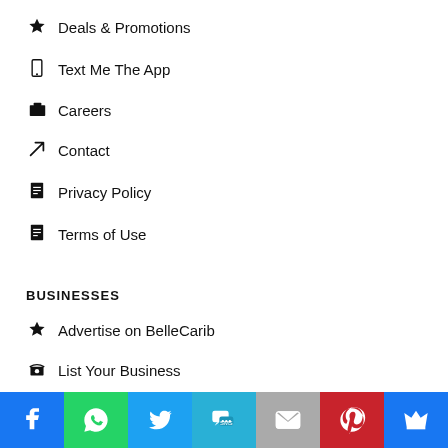★ Deals & Promotions
☐ Text Me The App
🧳 Careers
➤ Contact
📄 Privacy Policy
📄 Terms of Use
BUSINESSES
★ Advertise on BelleCarib
👍 List Your Business
✏ Edit Your Business Listing
👥 Submit A Deal/Promotion
[Figure (infographic): Social sharing footer bar with icons: Facebook (blue), WhatsApp (green), Twitter (light blue), SMS (blue), Email (gray), Pinterest (red), Crown (blue)]